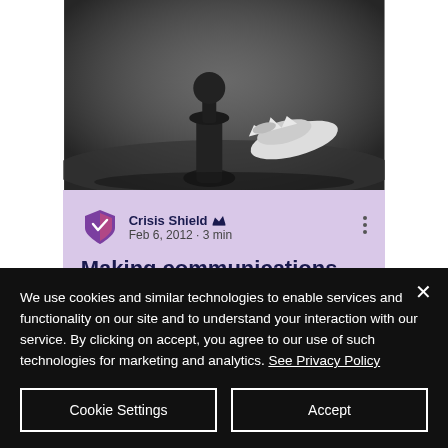[Figure (photo): Black and white photo of chess pieces on a board — a standing dark pawn next to a fallen white king/queen piece.]
Crisis Shield · Feb 6, 2012 · 3 min
Making communications strategy effective for your
We use cookies and similar technologies to enable services and functionality on our site and to understand your interaction with our service. By clicking on accept, you agree to our use of such technologies for marketing and analytics. See Privacy Policy
Cookie Settings
Accept